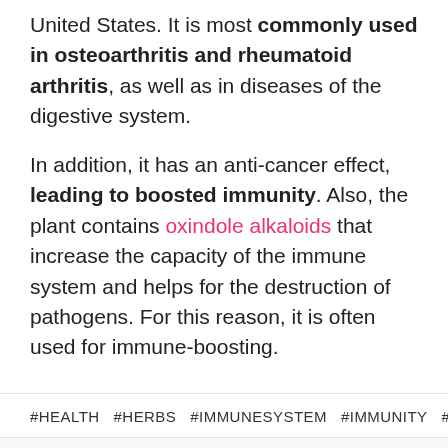United States. It is most commonly used in osteoarthritis and rheumatoid arthritis, as well as in diseases of the digestive system.

In addition, it has an anti-cancer effect, leading to boosted immunity. Also, the plant contains oxindole alkaloids that increase the capacity of the immune system and helps for the destruction of pathogens. For this reason, it is often used for immune-boosting.
#HEALTH #HERBS #IMMUNESYSTEM #IMMUNITY #TIPS
Previous article